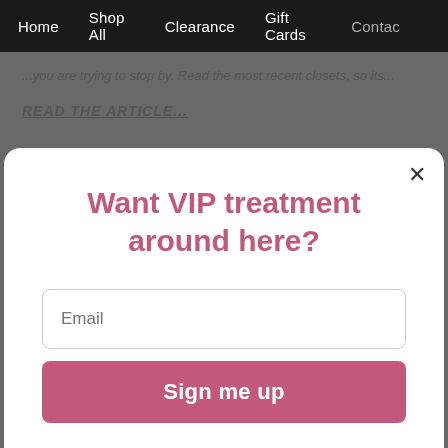Home   Shop All   Clearance   Gift Cards   Contact
...you are trying to stop by. Read the most recent closets, so its...
READ THE ARTICLE...
Want VIP treatment around here?
Email
Sign me up
No Thanks